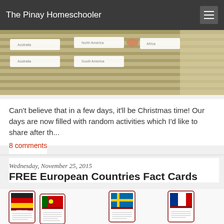The Pinay Homeschooler
[Figure (photo): Photo of flashcards laid on a striped surface, showing geography/continent labels]
Can't believe that in a few days, it'll be Christmas time!  Our days are now filled with random activities which I'd like to share after th...
8 comments
Wednesday, November 25, 2015
FREE European Countries Fact Cards
[Figure (photo): Preview image of European Countries Fact Cards showing cards for Germany, Sweden, France, Portugal, Ireland, Russia, Switzerland, United Kingdom, Greece, and Turkey with their flags]